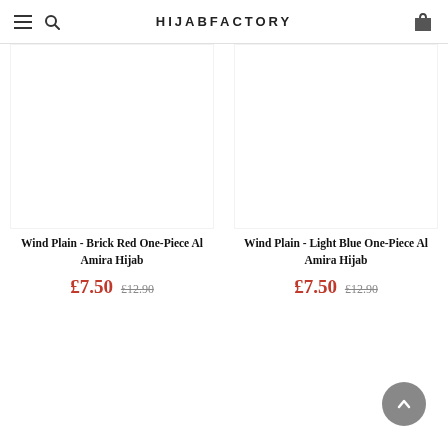HijabFactory
[Figure (photo): Product image placeholder for Wind Plain - Brick Red One-Piece Al Amira Hijab]
Wind Plain - Brick Red One-Piece Al Amira Hijab
£7.50 £12.90
[Figure (photo): Product image placeholder for Wind Plain - Light Blue One-Piece Al Amira Hijab]
Wind Plain - Light Blue One-Piece Al Amira Hijab
£7.50 £12.90